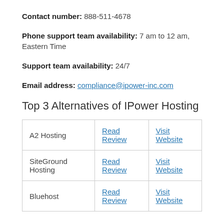Contact number: 888-511-4678
Phone support team availability: 7 am to 12 am, Eastern Time
Support team availability: 24/7
Email address: compliance@ipower-inc.com
Top 3 Alternatives of IPower Hosting
|  |  |  |
| --- | --- | --- |
| A2 Hosting | Read Review | Visit Website |
| SiteGround Hosting | Read Review | Visit Website |
| Bluehost | Read Review | Visit Website |